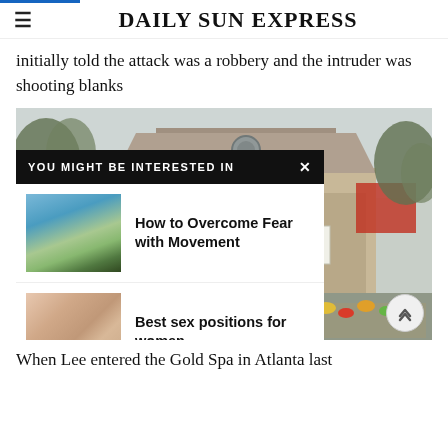DAILY SUN EXPRESS
initially told the attack was a robbery and the intruder was shooting blanks
[Figure (photo): Exterior of the Gold Spa building in Atlanta with a memorial of flowers and signs visible, trees in background. An overlay panel reads 'YOU MIGHT BE INTERESTED IN' with two article links: 'How to Overcome Fear with Movement' (beach/coastal image) and 'Best sex positions for women' (hands image).]
When Lee entered the Gold Spa in Atlanta last